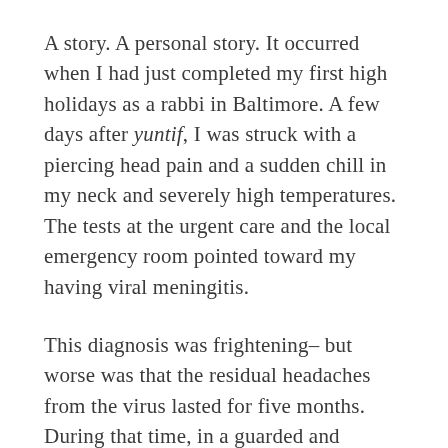A story. A personal story. It occurred when I had just completed my first high holidays as a rabbi in Baltimore. A few days after yuntif, I was struck with a piercing head pain and a sudden chill in my neck and severely high temperatures. The tests at the urgent care and the local emergency room pointed toward my having viral meningitis.
This diagnosis was frightening– but worse was that the residual headaches from the virus lasted for five months. During that time, in a guarded and subdued state, I went back to work and tried to convince myself not to be scared of what all the